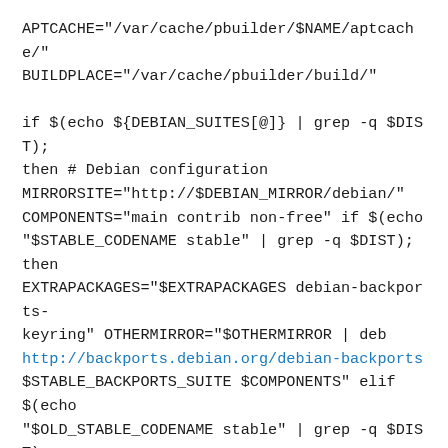APTCACHE="/var/cache/pbuilder/$NAME/aptcache/"
BUILDPLACE="/var/cache/pbuilder/build/"

if $(echo ${DEBIAN_SUITES[@]} | grep -q $DIST);
then # Debian configuration
MIRRORSITE="http://$DEBIAN_MIRROR/debian/"
COMPONENTS="main contrib non-free" if $(echo
"$STABLE_CODENAME stable" | grep -q $DIST); then
EXTRAPACKAGES="$EXTRAPACKAGES debian-backports-keyring" OTHERMIRROR="$OTHERMIRROR | deb
http://backports.debian.org/debian-backports
$STABLE_BACKPORTS_SUITE $COMPONENTS" elif $(echo
"$OLD_STABLE_CODENAME stable" | grep -q $DIST);
then EXTRAPACKAGES="$EXTRAPACKAGES debian-backports-keyring" OTHERMIRROR="$OTHERMIRROR |
deb http://backports.debian.org/debian-backports
$OLD_STABLE_BACKPORTS_SUITE $COMPONENTS" elif
$(echo "unstable" | grep -q $DIST); then
DIST="$UNSTABLE_CODENAME"
OTHERMIRROR="$OTHERMIRROR | deb